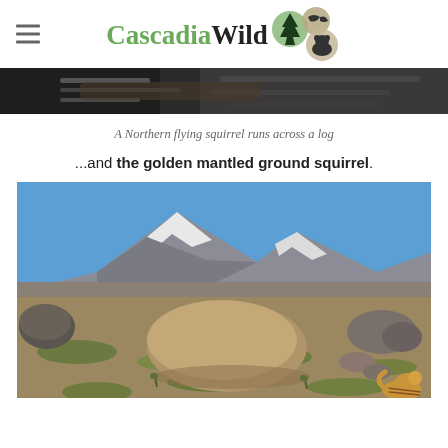CascadiaWild
[Figure (photo): Dark banner image strip — top of a camera trap photo, showing a log in darkness]
A Northern flying squirrel runs across a log
...and the golden mantled ground squirrel.
[Figure (photo): Outdoor alpine scene showing rocky alpine meadow with large boulders, snowy mountain peak in background, blue sky, green low vegetation, and a golden mantled ground squirrel visible at bottom right corner]